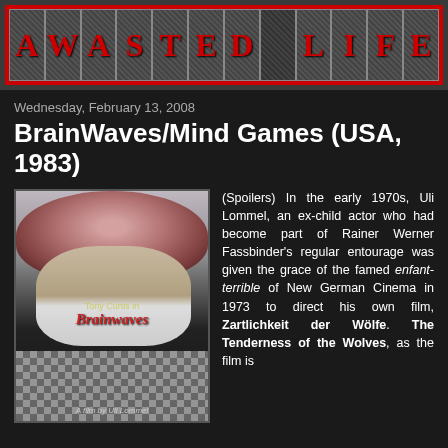[Figure (illustration): A WASTED LIFE blog banner with decorative letter tiles on red border background]
Wednesday, February 13, 2008
BrainWaves/Mind Games (USA, 1983)
[Figure (photo): Movie poster for Brainwaves directed by Uli Lommel, featuring Tony Curtis, with a figure with exposed brain and surgical mask, checkerboard background]
(Spoilers) In the early 1970s, Uli Lommel, an ex-child actor who had become part of Rainer Werner Fassbinder's regular entourage was given the grace of the famed enfant-terrible of New German Cinema in 1973 to direct his own film, Zartlichkeit der Wölfe. The Tenderness of the Wolves, as the film is